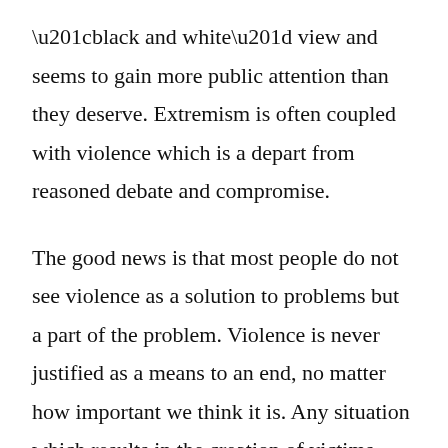“black and white” view and seems to gain more public attention than they deserve. Extremism is often coupled with violence which is a depart from reasoned debate and compromise.
The good news is that most people do not see violence as a solution to problems but a part of the problem. Violence is never justified as a means to an end, no matter how important we think it is. Any situation which results in the creation of victims only sows the seeds for future conflict. To be Jedi is never to accept extremism and to